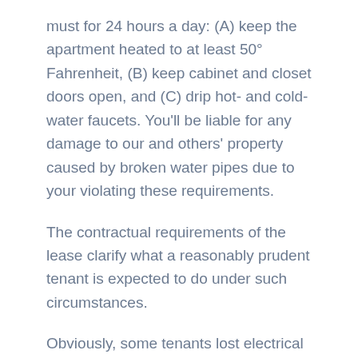must for 24 hours a day: (A) keep the apartment heated to at least 50° Fahrenheit, (B) keep cabinet and closet doors open, and (C) drip hot- and cold-water faucets. You'll be liable for any damage to our and others' property caused by broken water pipes due to your violating these requirements.
The contractual requirements of the lease clarify what a reasonably prudent tenant is expected to do under such circumstances.
Obviously, some tenants lost electrical power during the winter storm and may have lacked the means to heat their apartment. It is likely that the loss of